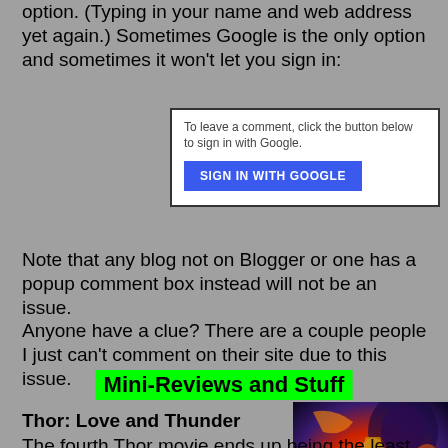option. (Typing in your name and web address yet again.) Sometimes Google is the only option and sometimes it won't let you sign in:
[Figure (screenshot): A Blogger comment box showing text 'To leave a comment, click the button below to sign in with Google.' and a blue 'SIGN IN WITH GOOGLE' button.]
Note that any blog not on Blogger or one has a popup comment box instead will not be an issue. Anyone have a clue? There are a couple people I just can't comment on their site due to this issue.
Mini-Reviews and Stuff
Thor: Love and Thunder
The fourth Thor movie ends up being the least effective. Too corny, too slapstick, and just not enough substance in terms of story. Soundtrack was cool (several Guns 'n' Roses tunes plus Dio...) but overall this film...
[Figure (photo): Thor: Love and Thunder movie poster showing Thor and other Marvel characters in a colorful action scene.]